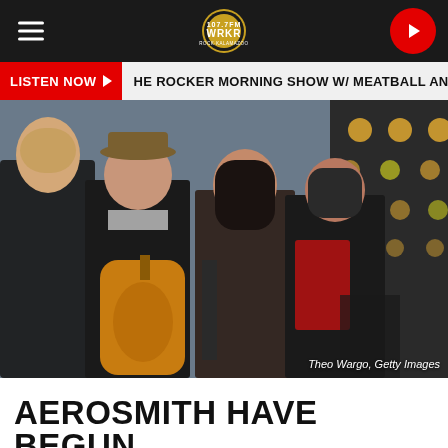WRKR - Navigation bar with hamburger menu, WRKR logo, and play button
LISTEN NOW ▶ HE ROCKER MORNING SHOW W/ MEATBALL AND MAI
[Figure (photo): Four members of Aerosmith posing together outdoors, holding guitars, wearing rock-style clothing. Photo credit: Theo Wargo, Getty Images]
AEROSMITH HAVE BEGUN